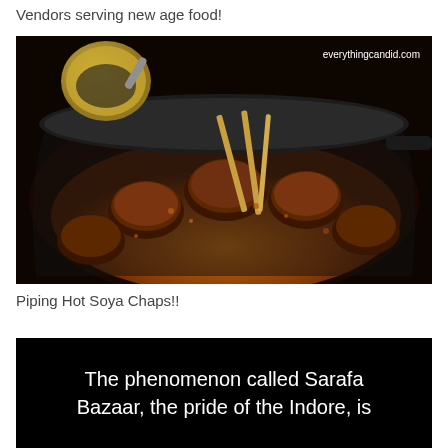Vendors serving new age food!
[Figure (photo): Close-up photo of piping hot Soya Chaps skewers in a dark iron wok with spiced gravy, with watermark 'everythingcandid.com' in the top right corner]
Piping Hot Soya Chaps!!
The phenomenon called Sarafa Bazaar, the pride of the Indore, is